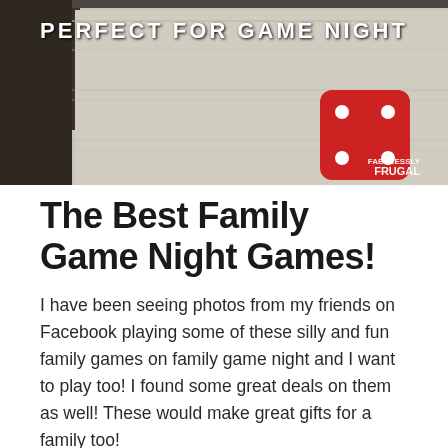[Figure (photo): Header image showing a board game surface with a red dice in the bottom right, overlaid with white text reading 'PERFECT FOR GAME NIGHT' and a 'FABULESSLY FRUGAL' watermark in the bottom right corner.]
The Best Family Game Night Games!
I have been seeing photos from my friends on Facebook playing some of these silly and fun family games on family game night and I want to play too! I found some great deals on them as well! These would make great gifts for a family too!